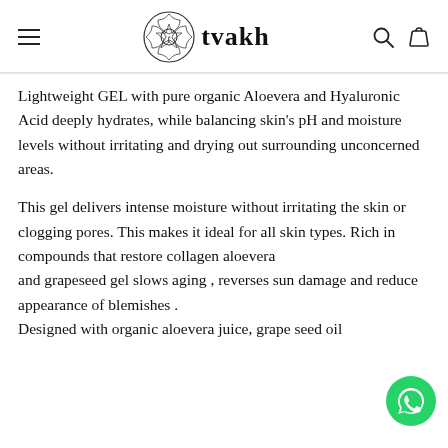tvakh
Lightweight GEL with pure organic Aloevera and Hyaluronic Acid deeply hydrates, while balancing skin's pH and moisture levels without irritating and drying out surrounding unconcerned areas.
This gel delivers intense moisture without irritating the skin or clogging pores. This makes it ideal for all skin types. Rich in compounds that restore collagen aloevera and grapeseed gel slows aging , reverses sun damage and reduce appearance of blemishes . Designed with organic aloevera juice, grape seed oil